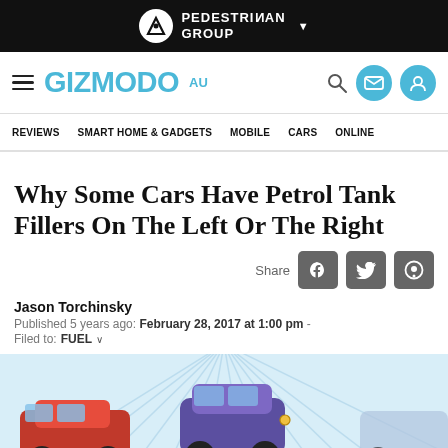PEDESTRIAN GROUP
GIZMODO AU — navigation: REVIEWS, SMART HOME & GADGETS, MOBILE, CARS, ONLINE
Why Some Cars Have Petrol Tank Fillers On The Left Or The Right
Share
Jason Torchinsky
Published 5 years ago: February 28, 2017 at 1:00 pm - Filed to: FUEL
[Figure (illustration): Illustration of cars seen from above showing petrol tank filler positions on left or right, with radiating light-blue lines in background]